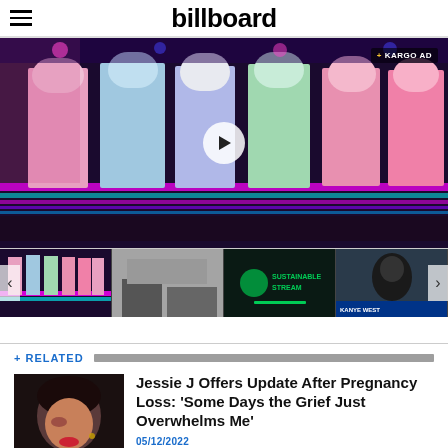billboard
[Figure (screenshot): Video player showing BTS or K-pop group members on stage in colorful pastel satin suits (pink, light blue, green, purple) with neon striped floor. A play button overlay is centered. KARGO AD badge in upper right.]
[Figure (screenshot): Thumbnail strip with 4 video thumbnails: (1) K-pop group on colorful stage, (2) grayscale indoor scene, (3) 'Sustainable Stream' green logo on dark background, (4) hooded figure, news chyron 'KANYE WEST'. Left and right navigation arrows visible.]
+ RELATED
[Figure (photo): Close-up photo of a woman (Jessie J) with dark hair, red lips, looking down, against dark background.]
Jessie J Offers Update After Pregnancy Loss: 'Some Days the Grief Just Overwhelms Me'
05/12/2022